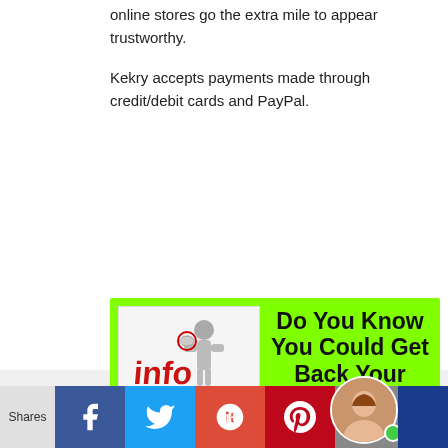online stores go the extra mile to appear trustworthy.
Kekry accepts payments made through credit/debit cards and PayPal.
[Figure (infographic): Green banner advertisement with 'info' figure image and bold text: 'Do You Know You Could Get Back Your Money If You Have Been Scammed? Start Now! Click...']
Shares | Facebook | Twitter | Google+ | Pinterest | Email